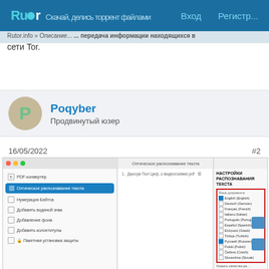Rutor — Вход   Регистр...
сети Tor.
Poqyber
Продвинутый юзер
16/05/2022   #2
[Figure (screenshot): Screenshot of a PDF converter web app showing OCR settings panel with language selection including English, Deutsch, Français, Italiano, Português, Español, Ελληνικά, Türkçe, Русский (checked), Polski, Čeština, Slovenčina. Left panel shows menu items including PDF-конвертер, Оптическое распознавание текста (active), Нумерация Бейтса, Добавить водяной знак, Добавление фона, Добавить колонтитулы, Пакетная установка защиты.]